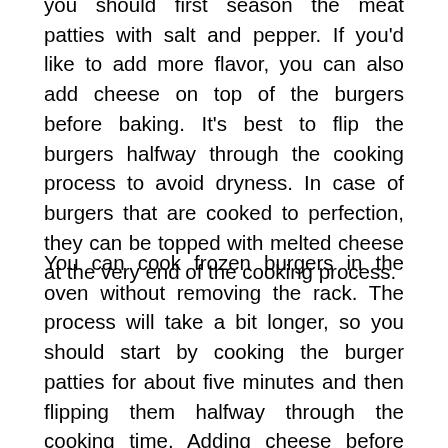you should first season the meat patties with salt and pepper. If you'd like to add more flavor, you can also add cheese on top of the burgers before baking. It's best to flip the burgers halfway through the cooking process to avoid dryness. In case of burgers that are cooked to perfection, they can be topped with melted cheese at the very end of the cooking process.
You can cook frozen burgers in the oven without removing the rack. The process will take a bit longer, so you should start by cooking the burger patties for about five minutes and then flipping them halfway through the cooking time. Adding cheese before cooking is a good idea, because it adds flavor and extra fat to keep the burger moist. Choose a sharp cheese like cheddar or parmesan, since it will impart more flavor than mild cheeses.
To cook frozen burgers in the oven without removing the rack, prepare a foil pan and place a metal wire rack on top